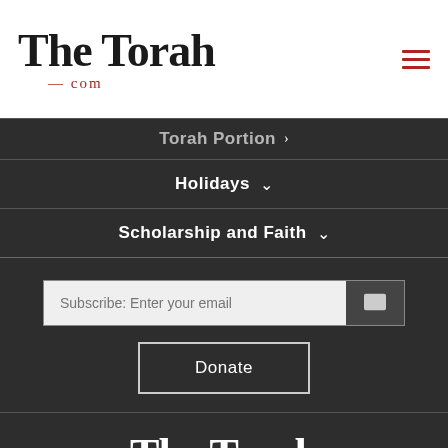The Torah .com
Torah Portion
Holidays
Scholarship and Faith
Subscribe: Enter your email
Donate
[Figure (logo): The Torah .com logo in white on dark background]
Launched Shavuot 5773 / 2013 | Copyright © 2022 Project TABS, All Rights Reserved